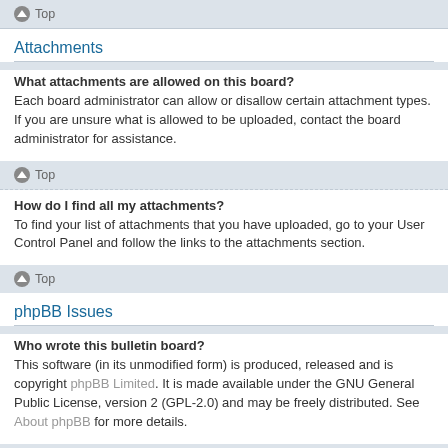Top
Attachments
What attachments are allowed on this board?
Each board administrator can allow or disallow certain attachment types. If you are unsure what is allowed to be uploaded, contact the board administrator for assistance.
Top
How do I find all my attachments?
To find your list of attachments that you have uploaded, go to your User Control Panel and follow the links to the attachments section.
Top
phpBB Issues
Who wrote this bulletin board?
This software (in its unmodified form) is produced, released and is copyright phpBB Limited. It is made available under the GNU General Public License, version 2 (GPL-2.0) and may be freely distributed. See About phpBB for more details.